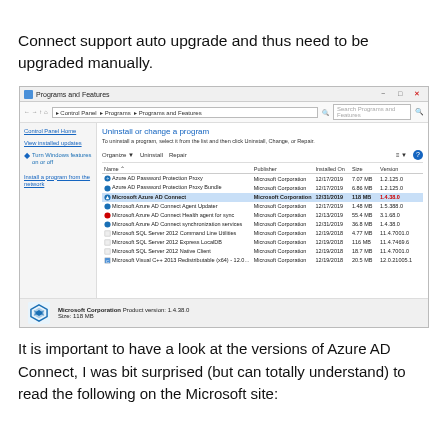Connect support auto upgrade and thus need to be upgraded manually.
[Figure (screenshot): Windows Programs and Features control panel screenshot showing a list of installed programs including Microsoft Azure AD Connect (highlighted/selected) and related Microsoft software, with publisher, installed on date, size, and version columns. The footer shows Microsoft Corporation Product version: 1.4.38.0, Size: 118 MB.]
It is important to have a look at the versions of Azure AD Connect, I was bit surprised (but can totally understand) to read the following on the Microsoft site: